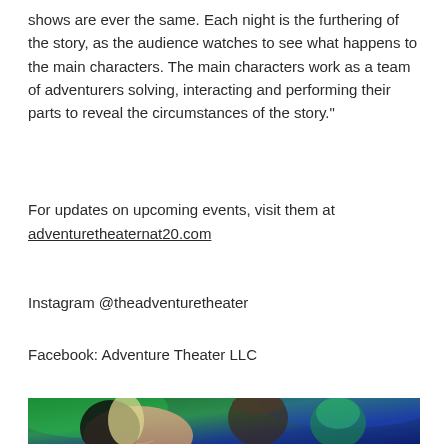shows are ever the same. Each night is the furthering of the story, as the audience watches to see what happens to the main characters. The main characters work as a team of adventurers solving, interacting and performing their parts to reveal the circumstances of the story."
For updates on upcoming events, visit them at adventuretheaternat20.com
Instagram @theadventuretheater
Facebook: Adventure Theater LLC
[Figure (photo): Theatrical performers on stage under colorful green and blue lighting; a young woman with long blonde hair smiles in the foreground, with two other performers in costume visible behind her.]